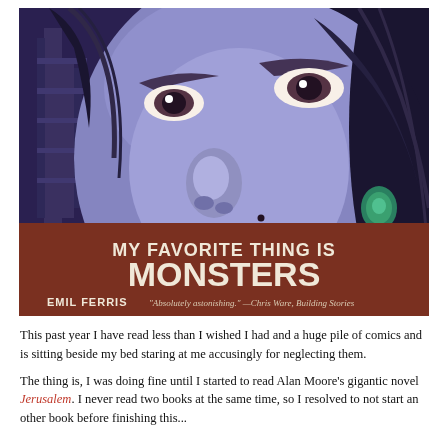[Figure (illustration): Book cover of 'My Favorite Thing Is Monsters' by Emil Ferris. Shows a close-up illustration of a girl's face with blue/purple skin tones, red lips, a beauty mark, and a teal earring. Her hair is dark and flowing. Behind her is an architectural structure. The lower portion has a brownish-red background with the title 'MY FAVORITE THING IS MONSTERS' in large cream/white bold text, author name 'EMIL FERRIS', and a quote 'Absolutely astonishing.' —Chris Ware, Building Stories]
This past year I have read less than I wished I had and a huge pile of comics and is sitting beside my bed staring at me accusingly for neglecting them.
The thing is, I was doing fine until I started to read Alan Moore's gigantic novel Jerusalem. I never read two books at the same time, so I resolved to not start any other book before finishing this...